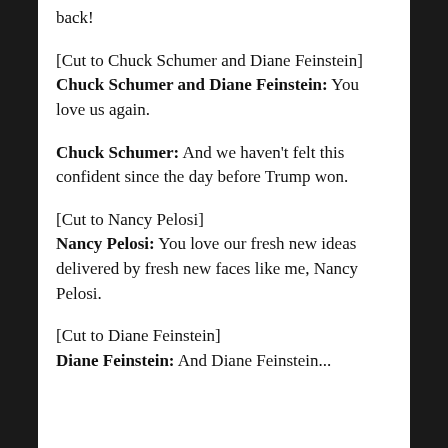back!
[Cut to Chuck Schumer and Diane Feinstein]
Chuck Schumer and Diane Feinstein: You love us again.
Chuck Schumer: And we haven't felt this confident since the day before Trump won.
[Cut to Nancy Pelosi]
Nancy Pelosi: You love our fresh new ideas delivered by fresh new faces like me, Nancy Pelosi.
[Cut to Diane Feinstein]
Diane Feinstein: And Diane Feinstein...